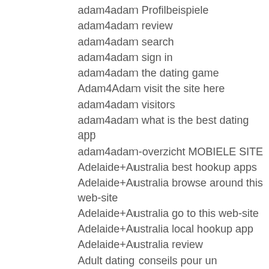adam4adam Profilbeispiele
adam4adam review
adam4adam search
adam4adam sign in
adam4adam the dating game
Adam4Adam visit the site here
adam4adam visitors
adam4adam what is the best dating app
adam4adam-overzicht MOBIELE SITE
Adelaide+Australia best hookup apps
Adelaide+Australia browse around this web-site
Adelaide+Australia go to this web-site
Adelaide+Australia local hookup app
Adelaide+Australia review
Adult dating conseils pour un
Adult dating mistni
Adult dating services
Adult dating sites services